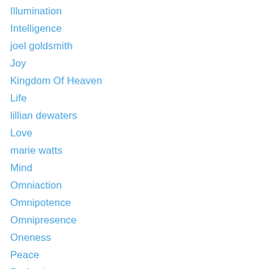Illumination
Intelligence
joel goldsmith
Joy
Kingdom Of Heaven
Life
lillian dewaters
Love
marie watts
Mind
Omniaction
Omnipotence
Omnipresence
Oneness
Peace
Perfection
Politics
Power
Prayer
Prosperity